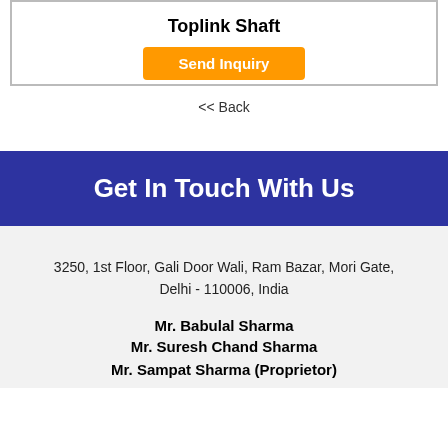Toplink Shaft
[Figure (screenshot): Orange 'Send Inquiry' button]
<< Back
Get In Touch With Us
3250, 1st Floor, Gali Door Wali, Ram Bazar, Mori Gate, Delhi - 110006, India
Mr. Babulal Sharma
Mr. Suresh Chand Sharma
Mr. Sampat Sharma (Proprietor)